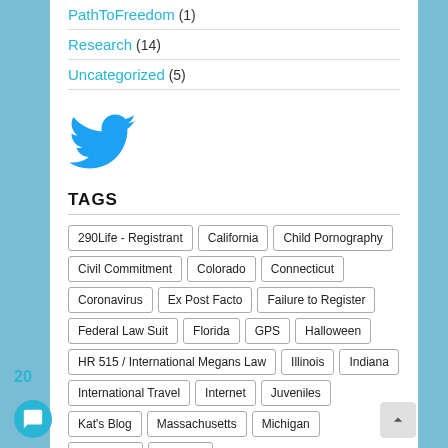PathToFreedom (1)
Research (14)
Uncategorized (5)
[Figure (logo): Twitter bird logo in blue]
TAGS
290Life - Registrant
California
Child Pornography
Civil Commitment
Colorado
Connecticut
Coronavirus
Ex Post Facto
Failure to Register
Federal Law Suit
Florida
GPS
Halloween
HR 515 / International Megans Law
Illinois
Indiana
International Travel
Internet
Juveniles
Kat's Blog
Massachusetts
Michigan
Minnesota
Missouri